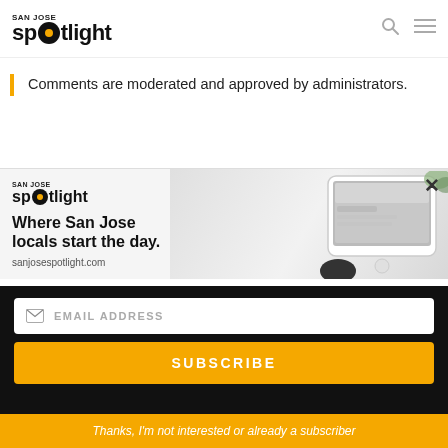SAN JOSE spotlight
Comments are moderated and approved by administrators.
[Figure (screenshot): San Jose Spotlight advertisement banner showing logo, tagline 'Where San Jose locals start the day.' and sanjosespotlight.com URL with a tablet device image on the right]
EMAIL ADDRESS
SUBSCRIBE
Thanks, I'm not interested or already a subscriber